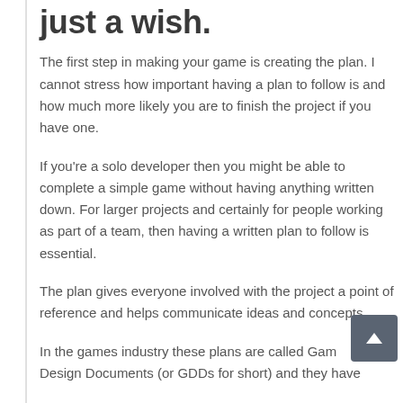just a wish.
The first step in making your game is creating the plan. I cannot stress how important having a plan to follow is and how much more likely you are to finish the project if you have one.
If you're a solo developer then you might be able to complete a simple game without having anything written down. For larger projects and certainly for people working as part of a team, then having a written plan to follow is essential.
The plan gives everyone involved with the project a point of reference and helps communicate ideas and concepts.
In the games industry these plans are called Game Design Documents (or GDDs for short) and they have